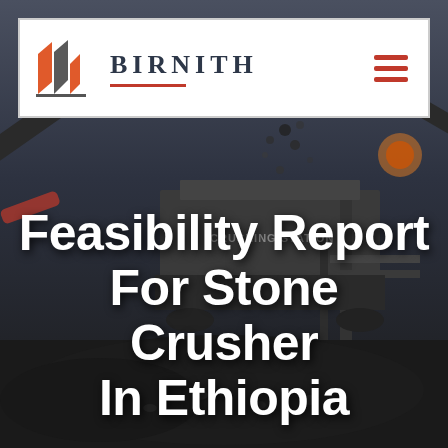[Figure (photo): Background photo of a stone crushing station with heavy industrial machinery, conveyor belts, and crushed stone/gravel in a dark, industrial setting.]
BIRNITH
Feasibility Report For Stone Crusher In Ethiopia